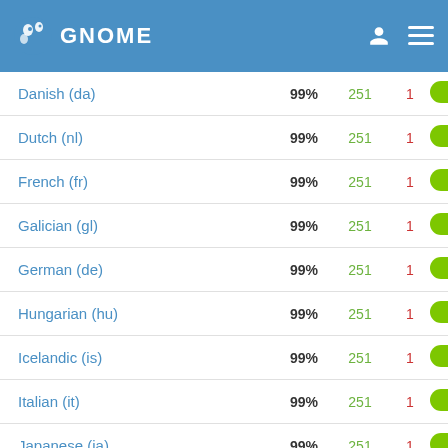GNOME
| Language | Percent | Translated | Untranslated | Status |
| --- | --- | --- | --- | --- |
| Danish (da) | 99% | 251 | 1 |  |
| Dutch (nl) | 99% | 251 | 1 |  |
| French (fr) | 99% | 251 | 1 |  |
| Galician (gl) | 99% | 251 | 1 |  |
| German (de) | 99% | 251 | 1 |  |
| Hungarian (hu) | 99% | 251 | 1 |  |
| Icelandic (is) | 99% | 251 | 1 |  |
| Italian (it) | 99% | 251 | 1 |  |
| Japanese (ja) | 99% | 251 | 1 |  |
| Kazakh (kk) | 99% | 251 | 1 |  |
| Korean (ko) | 99% | 251 | 1 |  |